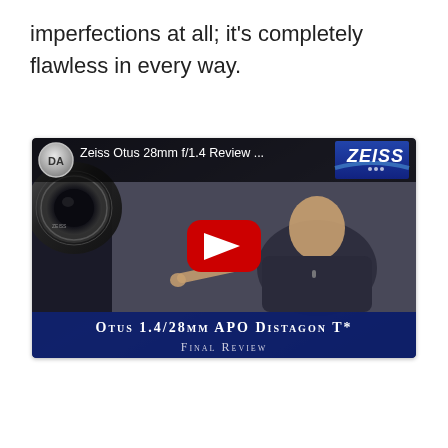imperfections at all; it's completely flawless in every way.
[Figure (screenshot): YouTube video thumbnail/embed showing a man pointing, with Zeiss logo in top right, DA channel badge, title 'Zeiss Otus 28mm f/1.4 Review ...', and bottom banner reading 'Otus 1.4/28mm APO Distagon T* Final Review']